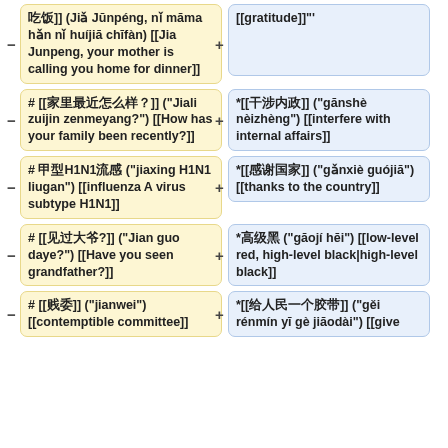吃饭]] (Jiǎ Jūnpéng, nǐ māma hǎn nǐ huíjiā chīfàn) [[Jia Junpeng, your mother is calling you home for dinner]]
[[gratitude]]""
# [[家里最近怎么样？]] ("Jiali zuijin zenmeyang?") [[How has your family been recently?]]
*[[干涉内政]] ("gānshè nèizhèng") [[interfere with internal affairs]]
# 甲型H1N1流感 ("jiaxing H1N1 liugan") [[influenza A virus subtype H1N1]]
*[[感谢国家]] ("gǎnxiè guójiā") [[thanks to the country]]
# [[见过大爷?]] ("Jian guo daye?") [[Have you seen grandfather?]]
*高级黑 ("gāojí hēi") [[low-level red, high-level black|high-level black]]
# [[贱委]] ("jianwei") [[contemptible committee]]
*[[给人民一个胶带]] ("gěi rénmín yī gè jiāodài") [[give